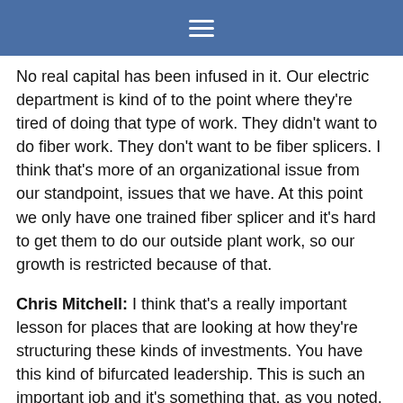≡
No real capital has been infused in it. Our electric department is kind of to the point where they're tired of doing that type of work. They didn't want to do fiber work. They don't want to be fiber splicers. I think that's more of an organizational issue from our standpoint, issues that we have. At this point we only have one trained fiber splicer and it's hard to get them to do our outside plant work, so our growth is restricted because of that.
Chris Mitchell: I think that's a really important lesson for places that are looking at how they're structuring these kinds of investments. You have this kind of bifurcated leadership. This is such an important job and it's something that, as you noted, it's more market oriented. I think none of us would say it's a properly functioning market, but it certainly has market aspects in terms of people having at least a limited choice. If you try to force